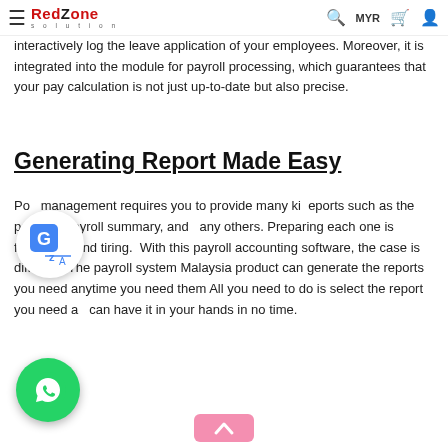RedZone Solution — MYR navigation bar
interactively log the leave application of your employees. Moreover, it is integrated into the module for payroll processing, which guarantees that your pay calculation is not just up-to-date but also precise.
Generating Report Made Easy
Payroll management requires you to provide many kinds of reports such as the pay slip, payroll summary, and many others. Preparing each one is frustrating and tiring. With this payroll accounting software, the case is different. The payroll system Malaysia product can generate the reports you need anytime you need them. All you need to do is select the report you need and can have it in your hands in no time.